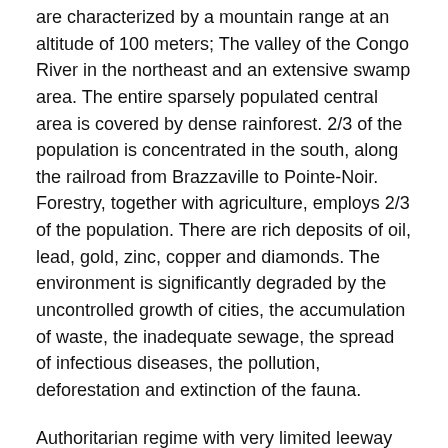are characterized by a mountain range at an altitude of 100 meters; The valley of the Congo River in the northeast and an extensive swamp area. The entire sparsely populated central area is covered by dense rainforest. 2/3 of the population is concentrated in the south, along the railroad from Brazzaville to Pointe-Noir. Forestry, together with agriculture, employs 2/3 of the population. There are rich deposits of oil, lead, gold, zinc, copper and diamonds. The environment is significantly degraded by the uncontrolled growth of cities, the accumulation of waste, the inadequate sewage, the spread of infectious diseases, the pollution, deforestation and extinction of the fauna.
Authoritarian regime with very limited leeway for opposition and lack of freedom of expression. Nearly allied by France and the United States.
The people: The Congolese belong to the Bantu, where the Bakongos dominate in the south, while the characters are in the central part, the Sangas in the north and and the Vili people on the coast.